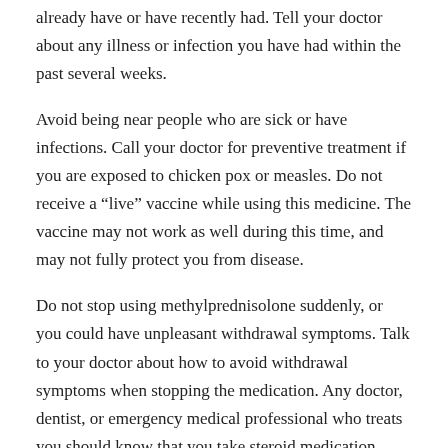already have or have recently had. Tell your doctor about any illness or infection you have had within the past several weeks.
Avoid being near people who are sick or have infections. Call your doctor for preventive treatment if you are exposed to chicken pox or measles. Do not receive a "live" vaccine while using this medicine. The vaccine may not work as well during this time, and may not fully protect you from disease.
Do not stop using methylprednisolone suddenly, or you could have unpleasant withdrawal symptoms. Talk to your doctor about how to avoid withdrawal symptoms when stopping the medication. Any doctor, dentist, or emergency medical professional who treats you should know that you take steroid medication.
Before taking this medicine
You should not use methylprednisolone if you are allergic to it, or if you have: